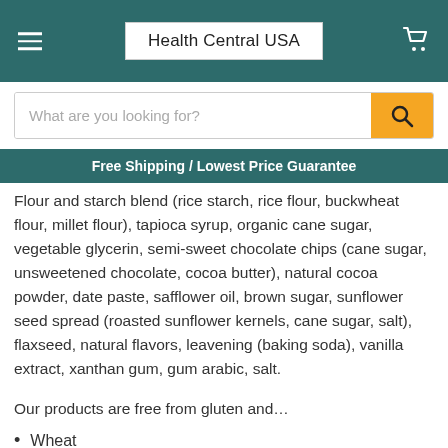Health Central USA
What are you looking for?
Free Shipping / Lowest Price Guarantee
Flour and starch blend (rice starch, rice flour, buckwheat flour, millet flour), tapioca syrup, organic cane sugar, vegetable glycerin, semi-sweet chocolate chips (cane sugar, unsweetened chocolate, cocoa butter), natural cocoa powder, date paste, safflower oil, brown sugar, sunflower seed spread (roasted sunflower kernels, cane sugar, salt), flaxseed, natural flavors, leavening (baking soda), vanilla extract, xanthan gum, gum arabic, salt.
Our products are free from gluten and…
Wheat
Peanuts
Tree Nuts